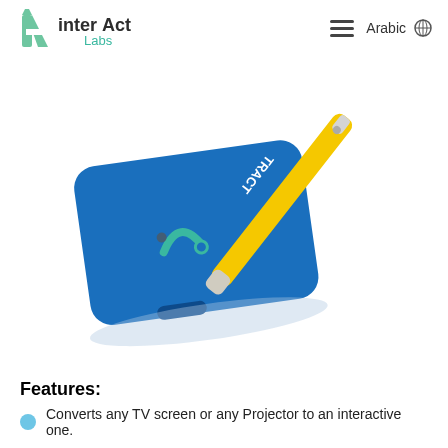[Figure (logo): interAct Labs logo — a green geometric A-shaped icon with the text 'interAct' in dark gray and 'Labs' in teal beneath]
Arabic 🌐
[Figure (photo): Product photo showing a blue rectangular device (interAct Labs hardware) with a teal/dark logo on its surface, and a yellow stylus/pen leaning against it diagonally on a white background]
Features:
Converts any TV screen or any Projector to an interactive one.